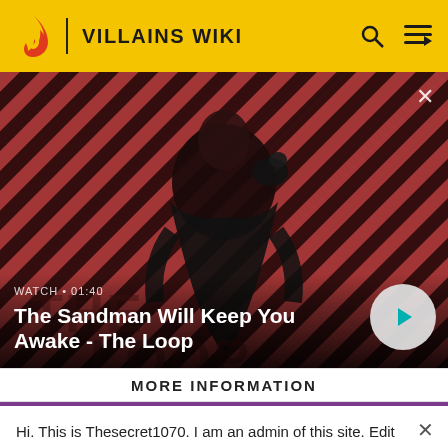VILLAINS WIKI
[Figure (screenshot): Video banner showing a dark figure in a cape with a raven on shoulder, against a red and black diagonal stripe background. Shows 'WATCH · 01:40' and title 'The Sandman Will Keep You Awake - The Loop' with a play button.]
The Sandman Will Keep You Awake - The Loop
MORE INFORMATION
Hi. This is Thesecret1070. I am an admin of this site. Edit as much as you wish, but one little thing... If you are going to edit a lot, then make yourself a user and login. Other than that, enjoy Villains Wiki!!!